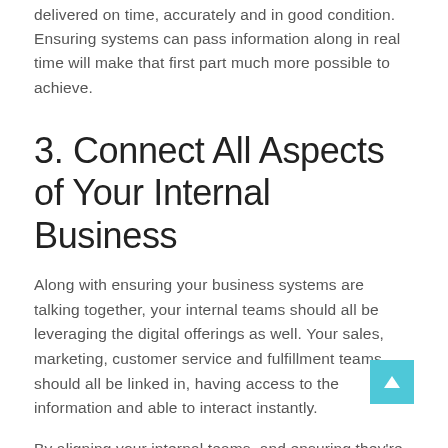delivered on time, accurately and in good condition. Ensuring systems can pass information along in real time will make that first part much more possible to achieve.
3. Connect All Aspects of Your Internal Business
Along with ensuring your business systems are talking together, your internal teams should all be leveraging the digital offerings as well. Your sales, marketing, customer service and fulfillment teams should all be linked in, having access to the information and able to interact instantly.
By aligning your internal teams, and ensuring they're